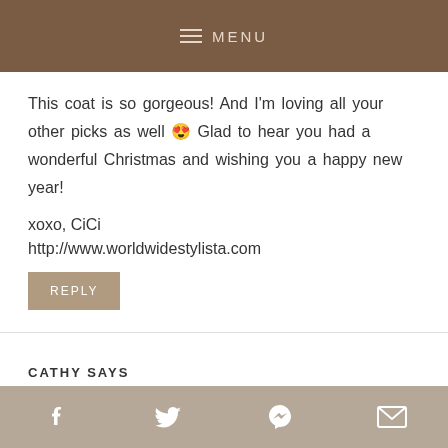MENU
This coat is so gorgeous! And I'm loving all your other picks as well 😍 Glad to hear you had a wonderful Christmas and wishing you a happy new year!

xoxo, CiCi
http://www.worldwidestylista.com
REPLY
CATHY SAYS
December 29, 2017 at 10:39 AM
f  twitter  p  mail